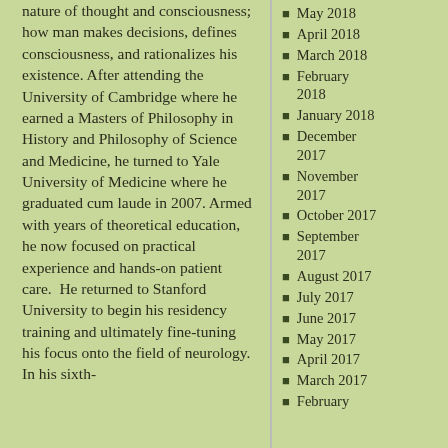nature of thought and consciousness; how man makes decisions, defines consciousness, and rationalizes his existence. After attending the University of Cambridge where he earned a Masters of Philosophy in History and Philosophy of Science and Medicine, he turned to Yale University of Medicine where he graduated cum laude in 2007. Armed with years of theoretical education, he now focused on practical experience and hands-on patient care. He returned to Stanford University to begin his residency training and ultimately fine-tuning his focus onto the field of neurology. In his sixth-
May 2018
April 2018
March 2018
February 2018
January 2018
December 2017
November 2017
October 2017
September 2017
August 2017
July 2017
June 2017
May 2017
April 2017
March 2017
February